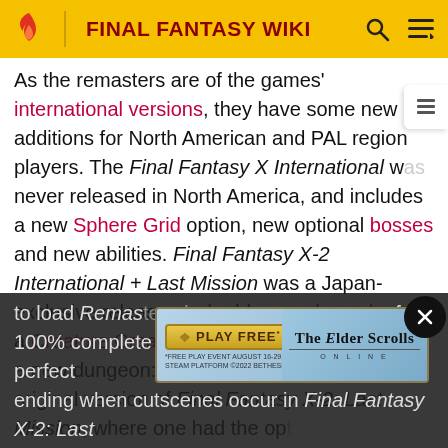FINAL FANTASY WIKI
As the remasters are of the games' international versions, they have some new additions for North American and PAL region players. The Final Fantasy X International was never released in North America, and includes a new Sphere Grid option, new optional bosses and new abilities. Final Fantasy X-2 International + Last Mission was a Japan-exclusive release, and adds new dresspheres, a Creature Creator system, a Fiend Arena, and a new dungeon: Iutycyr Tower. Unlike the original version of Final Fantasy X-2: Last Mission, where one had the option to load ... Remastered ... perfect 100% complete save and play-through with the perfect ending when cutscenes occur in Final Fantasy X-2: Last Mission.
[Figure (screenshot): The Elder Scrolls Online advertisement banner with 'PLAY FREE' button and asterisk disclaimer text]